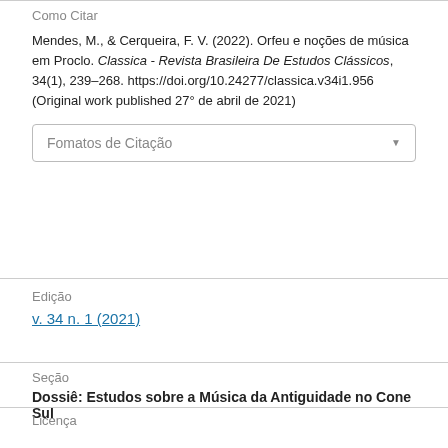Como Citar
Mendes, M., & Cerqueira, F. V. (2022). Orfeu e noções de música em Proclo. Classica - Revista Brasileira De Estudos Clássicos, 34(1), 239–268. https://doi.org/10.24277/classica.v34i1.956 (Original work published 27° de abril de 2021)
Fomatos de Citação
Edição
v. 34 n. 1 (2021)
Seção
Dossiê: Estudos sobre a Música da Antiguidade no Cone Sul
Licença